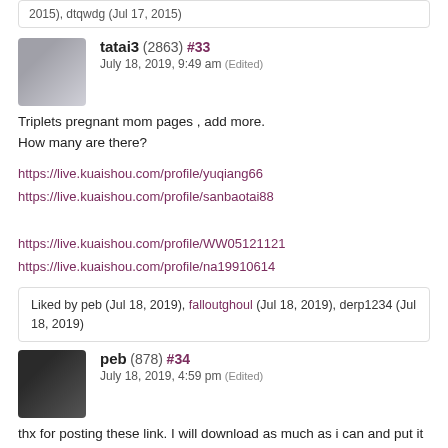2015), dtqwdg (Jul 17, 2015)
tatai3 (2863)
July 18, 2019, 9:49 am (Edited)
#33
Triplets pregnant mom pages , add more.
How many are there?
https://live.kuaishou.com/profile/yuqiang66
https://live.kuaishou.com/profile/sanbaotai88
https://live.kuaishou.com/profile/WW05121121
https://live.kuaishou.com/profile/na19910614
Liked by peb (Jul 18, 2019), falloutghoul (Jul 18, 2019), derp1234 (Jul 18, 2019)
peb (878)
July 18, 2019, 4:59 pm (Edited)
#34
thx for posting these link. I will download as much as i can and put it on a drive !